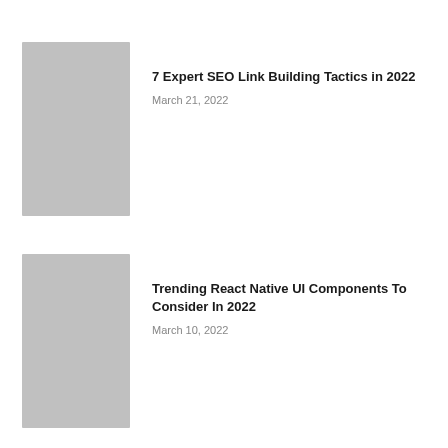[Figure (photo): Gray placeholder thumbnail image for first article]
7 Expert SEO Link Building Tactics in 2022
March 21, 2022
[Figure (photo): Gray placeholder thumbnail image for second article]
Trending React Native UI Components To Consider In 2022
March 10, 2022
[Figure (photo): Gray placeholder thumbnail image for third article (partially visible)]